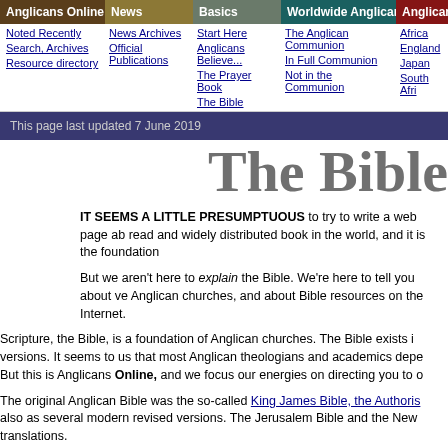Anglicans Online | News | Basics | Worldwide Anglicanism | Anglican
Noted Recently | News Archives | Start Here | The Anglican Communion | Africa
Search, Archives | Official Publications | Anglicans Believe... | In Full Communion | England
Resource directory | The Prayer Book | Not in the Communion | Japan
The Bible | South Afri
This page last updated 7 June 2019
The Bible
IT SEEMS A LITTLE PRESUMPTUOUS to try to write a web page ab... read and widely distributed book in the world, and it is the foundation...
But we aren't here to explain the Bible. We're here to tell you about ve... Anglican churches, and about Bible resources on the Internet.
Scripture, the Bible, is a foundation of Anglican churches. The Bible exists i... versions. It seems to us that most Anglican theologians and academics depe... But this is Anglicans Online, and we focus our energies on directing you to o...
The original Anglican Bible was the so-called King James Bible, the Authoris... also as several modern revised versions. The Jerusalem Bible and the New... translations.
While the Bible in its original languages is of course not copyrighted, many m... copyrighted translations are not available online. When we want to look up...